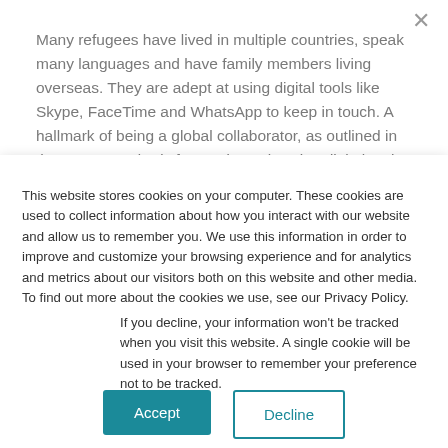Many refugees have lived in multiple countries, speak many languages and have family members living overseas. They are adept at using digital tools like Skype, FaceTime and WhatsApp to keep in touch. A hallmark of being a global collaborator, as outlined in the ISTE Standards for Students, is using digital tools to connect with learners from a variety of
This website stores cookies on your computer. These cookies are used to collect information about how you interact with our website and allow us to remember you. We use this information in order to improve and customize your browsing experience and for analytics and metrics about our visitors both on this website and other media. To find out more about the cookies we use, see our Privacy Policy.
If you decline, your information won't be tracked when you visit this website. A single cookie will be used in your browser to remember your preference not to be tracked.